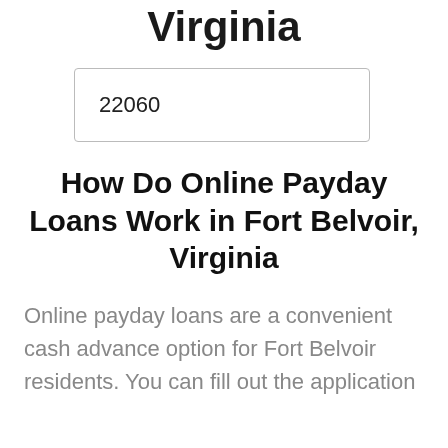Virginia
22060
How Do Online Payday Loans Work in Fort Belvoir, Virginia
Online payday loans are a convenient cash advance option for Fort Belvoir residents. You can fill out the application